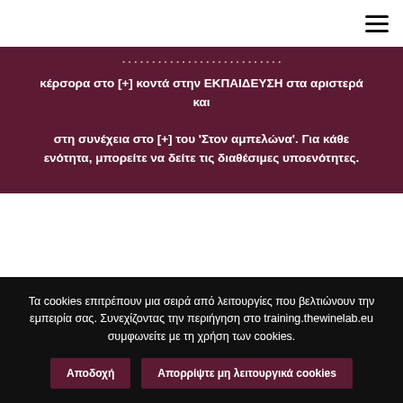κέρσορα στο [+] κοντά στην ΕΚΠΑΙΔΕΥΣΗ στα αριστερά και στη συνέχεια στο [+] του 'Στον αμπελώνα'. Για κάθε ενότητα, μπορείτε να δείτε τις διαθέσιμες υποενότητες.
PARTNERS
[Figure (logo): Partner logos: UNIMC, and other partner institution logos]
Τα cookies επιτρέπουν μια σειρά από λειτουργίες που βελτιώνουν την εμπειρία σας. Συνεχίζοντας την περιήγηση στο training.thewinelab.eu συμφωνείτε με τη χρήση των cookies.
Αποδοχή | Απορρίψτε μη λειτουργικά cookies